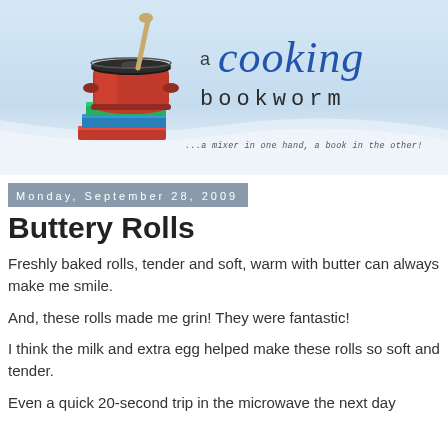[Figure (illustration): Blog header banner for 'a cooking bookworm' with light blue background, red cooking pot with spoon on stacked books on the left, and the blog title 'a cooking bookworm' in large stylized text on the right, with tagline '...a mixer in one hand, a book in the other!']
Monday, September 28, 2009
Buttery Rolls
Freshly baked rolls, tender and soft, warm with butter can always make me smile.
And, these rolls made me grin! They were fantastic!
I think the milk and extra egg helped make these rolls so soft and tender.
Even a quick 20-second trip in the microwave the next day